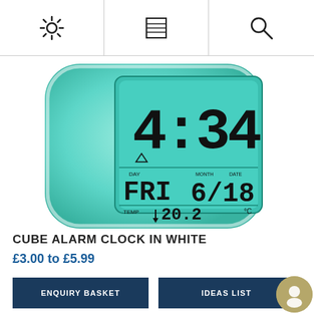[Figure (other): Top navigation bar with settings gear icon, menu/list icon, and search magnifying glass icon]
[Figure (photo): Cube-shaped alarm clock glowing teal/cyan, displaying time 4:34, day FRI, month/date 6/18, temperature 20.2°C on LCD screen]
CUBE ALARM CLOCK IN WHITE
£3.00 to £5.99
ENQUIRY BASKET
IDEAS LIST